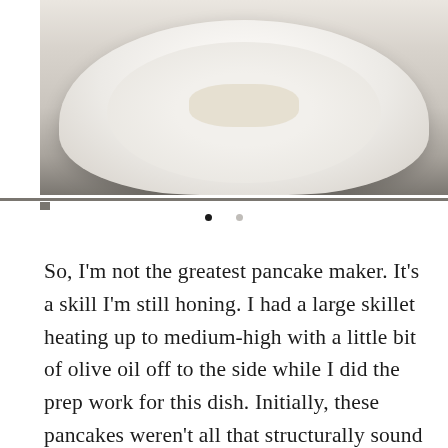[Figure (photo): Top portion of a photo showing a white plate or bowl with food, viewed from above, with a light gray/cream background surface]
So, I'm not the greatest pancake maker. It's a skill I'm still honing. I had a large skillet heating up to medium-high with a little bit of olive oil off to the side while I did the prep work for this dish. Initially, these pancakes weren't all that structurally sound and started to devolve into a crumbly mess after the first flip. I left them alone for awhile to firm up, and that seemed to do the trick! Another skill I'm still honing is